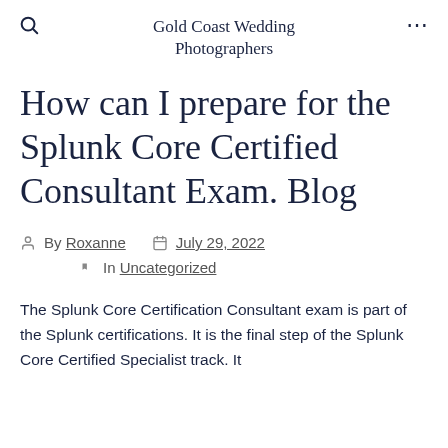Gold Coast Wedding Photographers
How can I prepare for the Splunk Core Certified Consultant Exam. Blog
By Roxanne   July 29, 2022   In Uncategorized
The Splunk Core Certification Consultant exam is part of the Splunk certifications. It is the final step of the Splunk Core Certified Specialist track. It